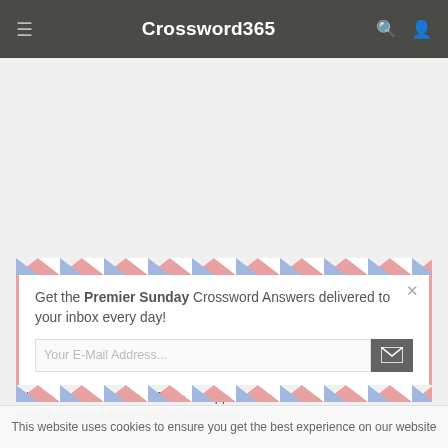Crossword365
[Figure (other): Airmail envelope popup modal with close button]
Get the Premier Sunday Crossword Answers delivered to your inbox every day!
Want to know where SHALT has appeared as a solution before? Click here for more information on that word.
This website uses cookies to ensure you get the best experience on our website